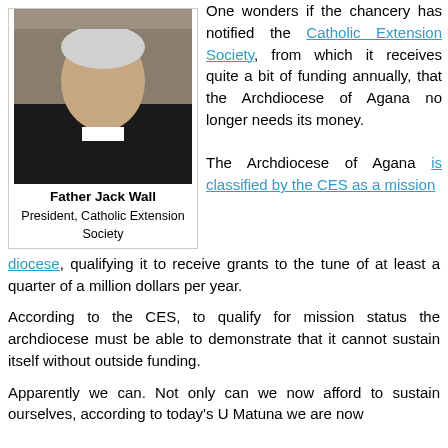[Figure (photo): Portrait photo of Father Jack Wall, an elderly white-haired man wearing black clerical attire with a white collar]
Father Jack Wall
President, Catholic Extension Society
One wonders if the chancery has notified the Catholic Extension Society, from which it receives quite a bit of funding annually, that the Archdiocese of Agana no longer needs its money.
The Archdiocese of Agana is classified by the CES as a mission diocese, qualifying it to receive grants to the tune of at least a quarter of a million dollars per year.
According to the CES, to qualify for mission status the archdiocese must be able to demonstrate that it cannot sustain itself without outside funding.
Apparently we can. Not only can we now afford to sustain ourselves, according to today’s U Matuna we are now